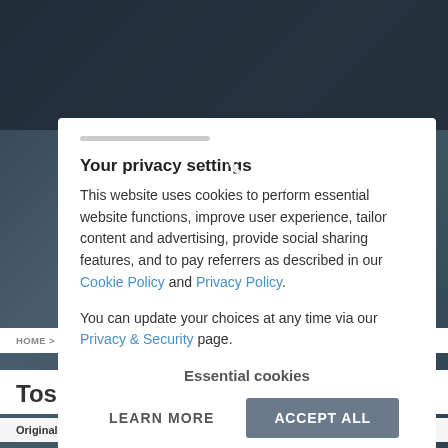[Figure (screenshot): Circuit board background image visible behind modal and at bottom of page]
Your privacy settings
This website uses cookies to perform essential website functions, improve user experience, tailor content and advertising, provide social sharing features, and to pay referrers as described in our Cookie Policy and Privacy Policy.
You can update your choices at any time via our Privacy & Security page.
Essential cookies
LEARN MORE
ACCEPT ALL
HOME > LAPTOP MEMORY MANUFACTURERS > TOSHIBA > SATELLITE > SATELLIT
Toshiba Satellite L850-
Original and 2-POWER matched memory for over 6000 different lapto